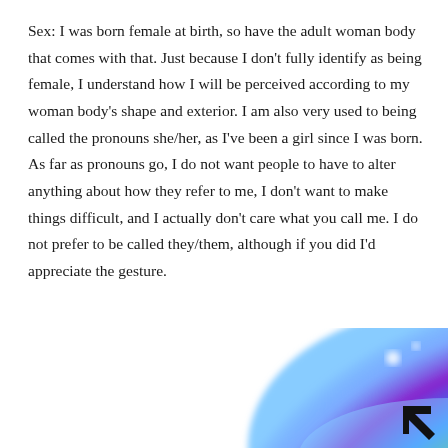Sex: I was born female at birth, so have the adult woman body that comes with that. Just because I don't fully identify as being female, I understand how I will be perceived according to my woman body's shape and exterior. I am also very used to being called the pronouns she/her, as I've been a girl since I was born. As far as pronouns go, I do not want people to have to alter anything about how they refer to me, I don't want to make things difficult, and I actually don't care what you call me. I do not prefer to be called they/them, although if you did I'd appreciate the gesture.
[Figure (illustration): Partial view of a rainbow-colored illustration with a black arrow/cursor graphic in the lower right corner, on a white background.]